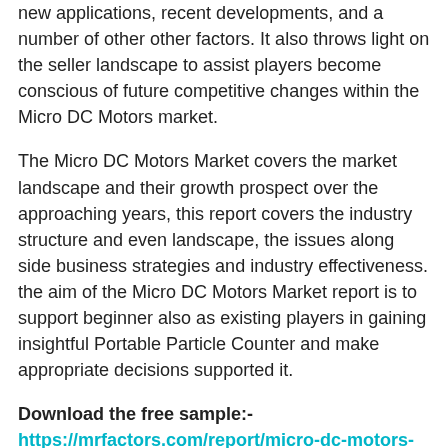new applications, recent developments, and a number of other other factors. It also throws light on the seller landscape to assist players become conscious of future competitive changes within the Micro DC Motors market.
The Micro DC Motors Market covers the market landscape and their growth prospect over the approaching years, this report covers the industry structure and even landscape, the issues along side business strategies and industry effectiveness. the aim of the Micro DC Motors Market report is to support beginner also as existing players in gaining insightful Portable Particle Counter and make appropriate decisions supported it.
Download the free sample:- https://mrfactors.com/report/micro-dc-motors-market/#requestForSample
The report lists the main players within the regions and their respective market share on the idea of worldwide revenue. It also